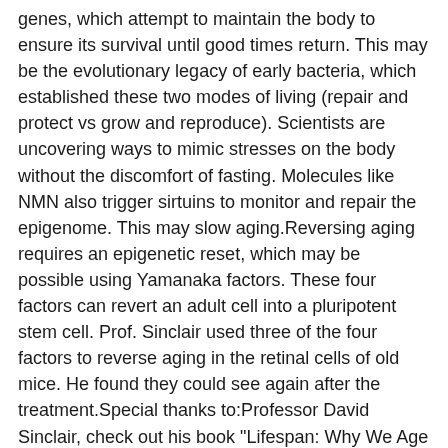genes, which attempt to maintain the body to ensure its survival until good times return. This may be the evolutionary legacy of early bacteria, which established these two modes of living (repair and protect vs grow and reproduce). Scientists are uncovering ways to mimic stresses on the body without the discomfort of fasting. Molecules like NMN also trigger sirtuins to monitor and repair the epigenome. This may slow aging.Reversing aging requires an epigenetic reset, which may be possible using Yamanaka factors. These four factors can revert an adult cell into a pluripotent stem cell. Prof. Sinclair used three of the four factors to reverse aging in the retinal cells of old mice. He found they could see again after the treatment.Special thanks to:Professor David Sinclair, check out his book "Lifespan: Why We Age & Why We Don't Have To"Assistant Professor David GoldNoemie Sierra (for polyp images)Genepool Productions for telomere animations from Immortal: https://ve42.co/immortalEpigenetics animations (DNA, histones, methylation etc) courtesy of: http://wehi.tvAnimation: Etsuko UnoArt and Technical Direction: Drew BerrySound Design: Francois Tetaz & Emma BortignonScientific Consultation: Marnie BlewittCourtesy of Walter and Eliza Hall Institute of Medical ResearchFilming, editing and animation by Jonny Hyman and Derek MullerMusic from https://epidemicsound.com "Clearer